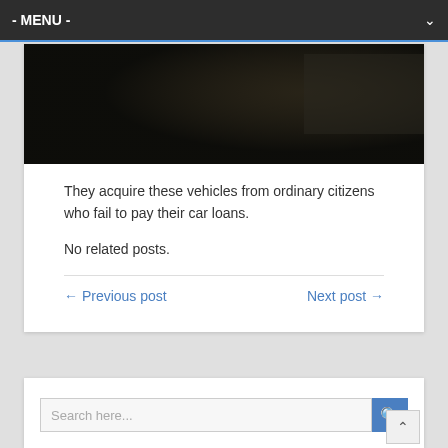- MENU -
[Figure (photo): Dark/night image, mostly black with subtle texture, appears to be a vehicle or dark scene]
They acquire these vehicles from ordinary citizens who fail to pay their car loans.
No related posts.
← Previous post    Next post →